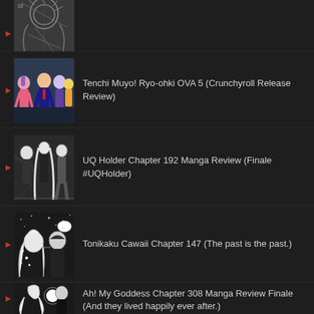(partial item - manga/anime image at top, cut off)
Tenchi Muyo! Ryo-ohki OVA 5 (Crunchyroll Release Review)
UQ Holder Chapter 192 Manga Review (Finale #UQHolder)
Tonikaku Cawaii Chapter 147 (The past is the past.)
Ah! My Goddess Chapter 308 Manga Review Finale (And they lived happily ever after.)
Tonikaku Cawaii Chapter 50 (No Fear of the...